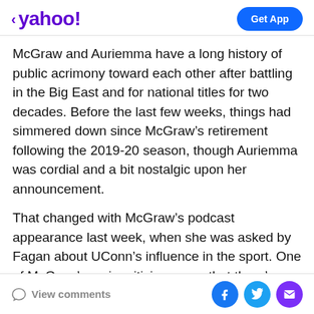< yahoo! | Get App
McGraw and Auriemma have a long history of public acrimony toward each other after battling in the Big East and for national titles for two decades. Before the last few weeks, things had simmered down since McGraw’s retirement following the 2019-20 season, though Auriemma was cordial and a bit nostalgic upon her announcement.
That changed with McGraw’s podcast appearance last week, when she was asked by Fagan about UConn’s influence in the sport. One of McGraw’s main criticisms was that there’s a “bias in the media,” specifically ESPN, in how UConn is covered.
View comments | Facebook | Twitter | Email